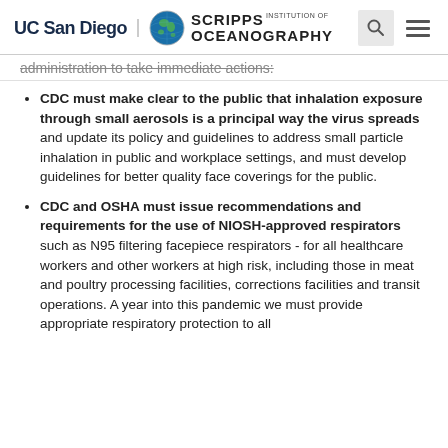UC San Diego | SCRIPPS INSTITUTION OF OCEANOGRAPHY
administration to take immediate actions:
CDC must make clear to the public that inhalation exposure through small aerosols is a principal way the virus spreads and update its policy and guidelines to address small particle inhalation in public and workplace settings, and must develop guidelines for better quality face coverings for the public.
CDC and OSHA must issue recommendations and requirements for the use of NIOSH-approved respirators such as N95 filtering facepiece respirators - for all healthcare workers and other workers at high risk, including those in meat and poultry processing facilities, corrections facilities and transit operations. A year into this pandemic we must provide appropriate respiratory protection to all